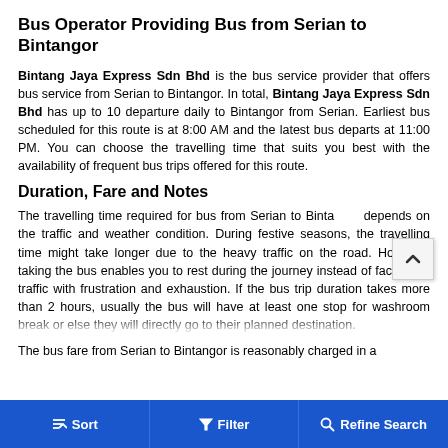Bus Operator Providing Bus from Serian to Bintangor
Bintang Jaya Express Sdn Bhd is the bus service provider that offers bus service from Serian to Bintangor. In total, Bintang Jaya Express Sdn Bhd has up to 10 departure daily to Bintangor from Serian. Earliest bus scheduled for this route is at 8:00 AM and the latest bus departs at 11:00 PM. You can choose the travelling time that suits you best with the availability of frequent bus trips offered for this route.
Duration, Fare and Notes
The travelling time required for bus from Serian to Bintangor depends on the traffic and weather condition. During festive seasons, the travelling time might take longer due to the heavy traffic on the road. However, taking the bus enables you to rest during the journey instead of facing the traffic with frustration and exhaustion. If the bus trip duration takes more than 2 hours, usually the bus will have at least one stop for washroom break or else they will directly go to their planned destination.
The bus fare from Serian to Bintangor is reasonably charged in a
Sort   Filter   Refine Search